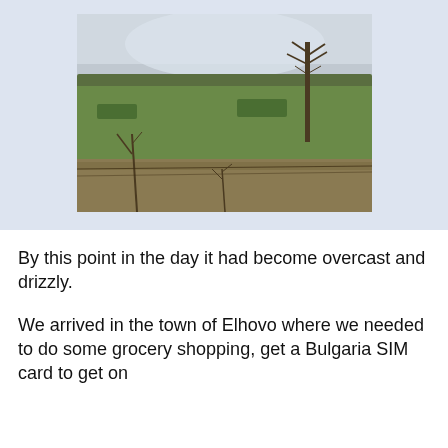[Figure (photo): Overcast countryside landscape with green fields, bare shrubs and branches in the foreground, a line of trees along a gentle hill in the background, and a tall bare tree on the right side under a grey cloudy sky.]
By this point in the day it had become overcast and drizzly.
We arrived in the town of Elhovo where we needed to do some grocery shopping, get a Bulgaria SIM card to get on